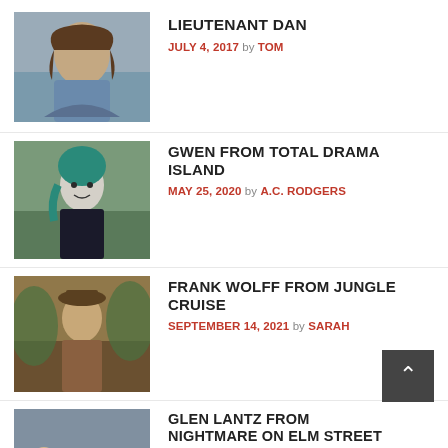[Figure (photo): Thumbnail image for Lieutenant Dan post]
LIEUTENANT DAN
JULY 4, 2017 by TOM
[Figure (photo): Thumbnail image for Gwen from Total Drama Island post]
GWEN FROM TOTAL DRAMA ISLAND
MAY 25, 2020 by A.C. RODGERS
[Figure (photo): Thumbnail image for Frank Wolff from Jungle Cruise post]
FRANK WOLFF FROM JUNGLE CRUISE
SEPTEMBER 14, 2021 by SARAH
[Figure (photo): Thumbnail image for Glen Lantz from Nightmare on Elm Street post]
GLEN LANTZ FROM NIGHTMARE ON ELM STREET
OCTOBER 31, 2020 by A.C. RODGERS
[Figure (photo): Thumbnail image for Fran Bow post]
FRAN BOW
JUNE 17, 2016 by TOM